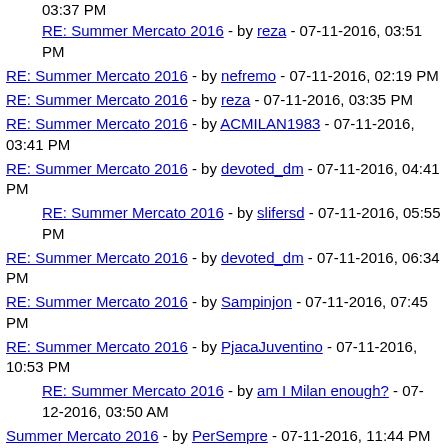03:37 PM
RE: Summer Mercato 2016 - by reza - 07-11-2016, 03:51 PM
RE: Summer Mercato 2016 - by nefremo - 07-11-2016, 02:19 PM
RE: Summer Mercato 2016 - by reza - 07-11-2016, 03:35 PM
RE: Summer Mercato 2016 - by ACMILAN1983 - 07-11-2016, 03:41 PM
RE: Summer Mercato 2016 - by devoted_dm - 07-11-2016, 04:41 PM
RE: Summer Mercato 2016 - by slifersd - 07-11-2016, 05:55 PM
RE: Summer Mercato 2016 - by devoted_dm - 07-11-2016, 06:34 PM
RE: Summer Mercato 2016 - by Sampinjon - 07-11-2016, 07:45 PM
RE: Summer Mercato 2016 - by PjacaJuventino - 07-11-2016, 10:53 PM
RE: Summer Mercato 2016 - by am I Milan enough? - 07-12-2016, 03:50 AM
Summer Mercato 2016 - by PerSempre - 07-11-2016, 11:44 PM
RE: Summer Mercato 2016 - by porcho - 07-11-2016, 11:46 PM
RE: Summer Mercato 2016 - by porcho - 07-11-2016, 11:56